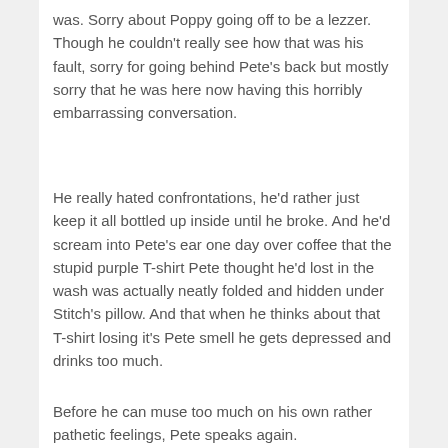was. Sorry about Poppy going off to be a lezzer. Though he couldn't really see how that was his fault, sorry for going behind Pete's back but mostly sorry that he was here now having this horribly embarrassing conversation.
He really hated confrontations, he'd rather just keep it all bottled up inside until he broke. And he'd scream into Pete's ear one day over coffee that the stupid purple T-shirt Pete thought he'd lost in the wash was actually neatly folded and hidden under Stitch's pillow. And that when he thinks about that T-shirt losing it's Pete smell he gets depressed and drinks too much.
Before he can muse too much on his own rather pathetic feelings, Pete speaks again.